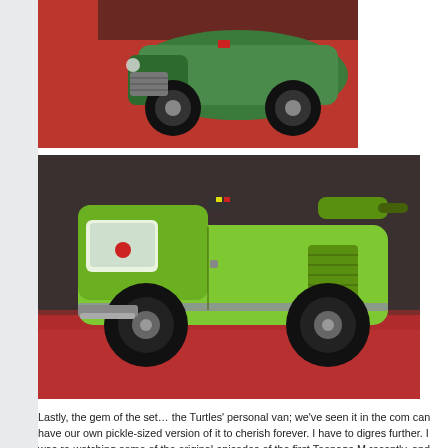[Figure (photo): Close-up photo of a small green TMNT toy vehicle (van/truck) on a red surface, viewed from front-top angle, showing dark wheels and green painted details]
[Figure (photo): Photo of a bright lime-green TMNT Turtle Van toy vehicle on a red surface, showing the full side profile with black wheels, silver details, and various sculpted features on the body]
Lastly, the gem of the set… the Turtles' personal van; we've seen it in the com can have our own pickle-sized version of it to cherish forever.  I have to digres further.  I was re-watching some of the original episodes of the first Teenage M recently, and was completely baffled and dumfounded by the origin of the Turt got this regular everyday van in a garage, right?  Well, then Donatello walks o vehicle, and peals an entire side of the van off like it was aluminum foil!  Word come on!  He walked up to a van and peeled the side of it off as easily as ope